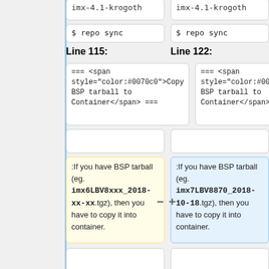imx-4.1-krogoth (truncated, top)
$ repo sync
$ repo sync
Line 115:
Line 122:
=== <span style="color:#0070c0">Copy BSP tarball to Container</span> ===
=== <span style="color:#0070c0">Copy BSP tarball to Container</span> ===
:If you have BSP tarball (eg. imx6LBV8xxx_2018-xx-xx.tgz), then you have to copy it into container.
:If you have BSP tarball (eg. imx7LBV8870_2018-10-18.tgz), then you have to copy it into container.